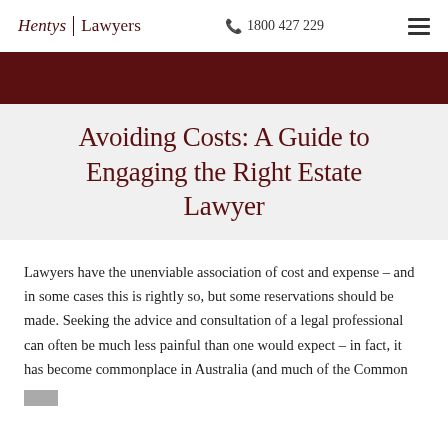Hentys | Lawyers   📞 1800 427 229   ☰
Avoiding Costs: A Guide to Engaging the Right Estate Lawyer
Lawyers have the unenviable association of cost and expense – and in some cases this is rightly so, but some reservations should be made. Seeking the advice and consultation of a legal professional can often be much less painful than one would expect – in fact, it has become commonplace in Australia (and much of the Common Law